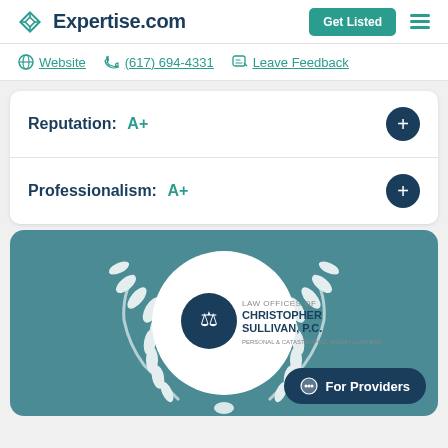Expertise.com
Website | (617) 694-4331 | Leave Feedback
Reputation: A+
Professionalism: A+
[Figure (logo): Law Offices of Christopher Sullivan, P.C. award badge with laurel wreath on teal background]
For Providers